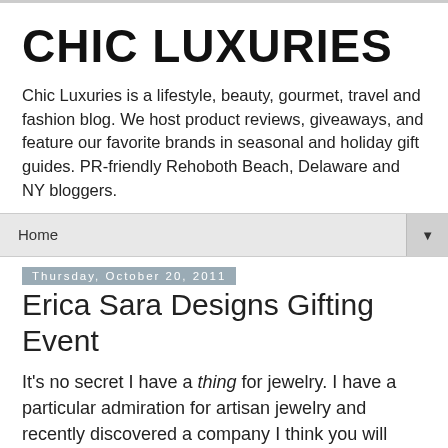CHIC LUXURIES
Chic Luxuries is a lifestyle, beauty, gourmet, travel and fashion blog. We host product reviews, giveaways, and feature our favorite brands in seasonal and holiday gift guides. PR-friendly Rehoboth Beach, Delaware and NY bloggers.
Home
Thursday, October 20, 2011
Erica Sara Designs Gifting Event
It's no secret I have a thing for jewelry. I have a particular admiration for artisan jewelry and recently discovered a company I think you will love. Erica Sara Designs handcrafts beautiful timeless treasures that are dainty, feminine and each a work of art.